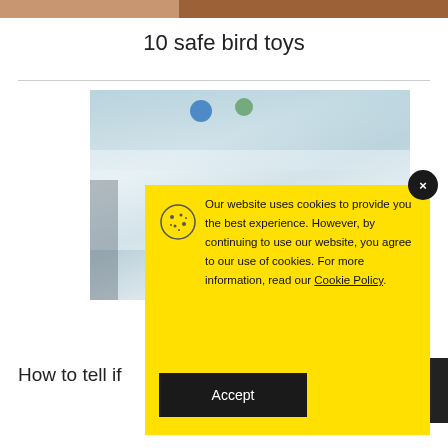[Figure (screenshot): Top image strip with brownish tones, partial header image]
10 safe bird toys
[Figure (photo): Blurred photo of bird toys/accessories on shelves, with blue and green colored items visible]
Our website uses cookies to provide you the best experience. However, by continuing to use our website, you agree to our use of cookies. For more information, read our Cookie Policy.
Accept
How to tell if
what to do